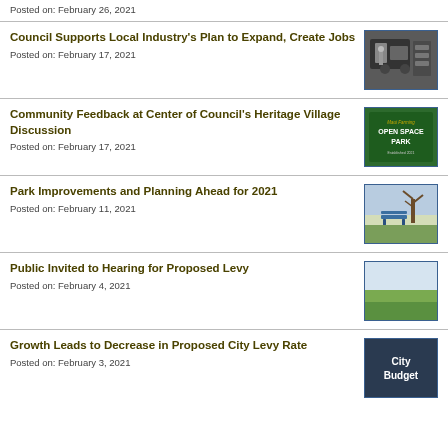Posted on: February 26, 2021
Council Supports Local Industry's Plan to Expand, Create Jobs
Posted on: February 17, 2021
[Figure (photo): Industrial/manufacturing scene, person working with machinery]
Community Feedback at Center of Council's Heritage Village Discussion
Posted on: February 17, 2021
[Figure (photo): Green sign reading Maui Farming Open Space Park]
Park Improvements and Planning Ahead for 2021
Posted on: February 11, 2021
[Figure (photo): Park scene with a blue bench and bare tree]
Public Invited to Hearing for Proposed Levy
Posted on: February 4, 2021
[Figure (photo): Open green field landscape]
Growth Leads to Decrease in Proposed City Levy Rate
Posted on: February 3, 2021
[Figure (photo): Dark background with text City Budget in white]